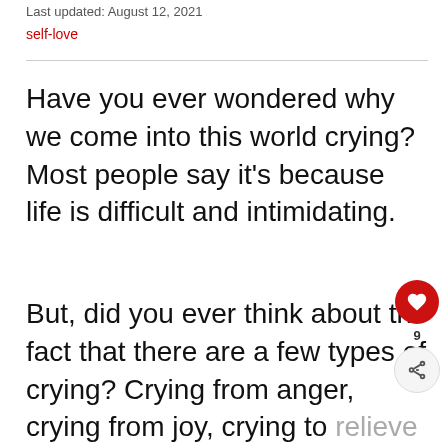Last updated: August 12, 2021
self-love
Have you ever wondered why we come into this world crying? Most people say it's because life is difficult and intimidating.
But, did you ever think about the fact that there are a few types of crying? Crying from anger, crying from joy, crying to relieve stress...